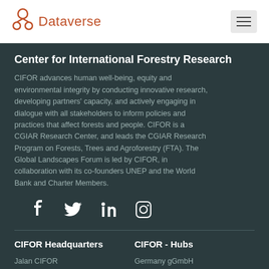Dataverse
Center for International Forestry Research
CIFOR advances human well-being, equity and environmental integrity by conducting innovative research, developing partners' capacity, and actively engaging in dialogue with all stakeholders to inform policies and practices that affect forests and people. CIFOR is a CGIAR Research Center, and leads the CGIAR Research Program on Forests, Trees and Agroforestry (FTA). The Global Landscapes Forum is led by CIFOR, in collaboration with its co-founders UNEP and the World Bank and Charter Members.
[Figure (infographic): Social media icons: Facebook, Twitter, LinkedIn, Instagram]
CIFOR Headquarters
Jalan CIFOR
Situ Gede, Bogor Barat
CIFOR - Hubs
Germany gGmbH
Lima, Peru